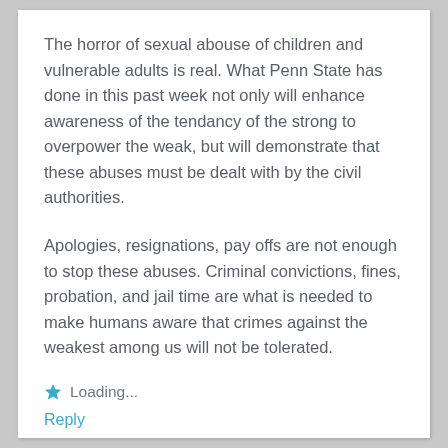The horror of sexual abouse of children and vulnerable adults is real. What Penn State has done in this past week not only will enhance awareness of the tendancy of the strong to overpower the weak, but will demonstrate that these abuses must be dealt with by the civil authorities.
Apologies, resignations, pay offs are not enough to stop these abuses. Criminal convictions, fines, probation, and jail time are what is needed to make humans aware that crimes against the weakest among us will not be tolerated.
Loading...
Reply